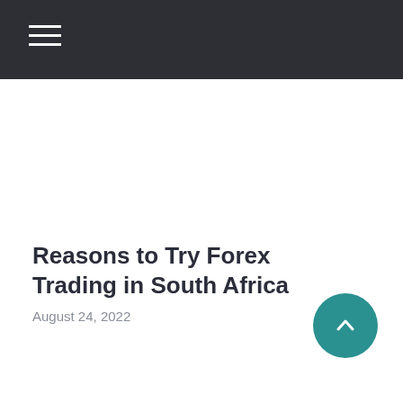Reasons to Try Forex Trading in South Africa
August 24, 2022